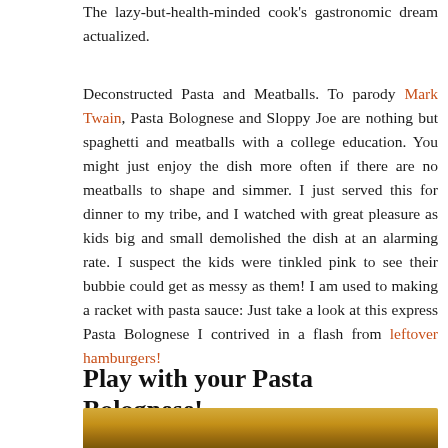The lazy-but-health-minded cook's gastronomic dream actualized.
Deconstructed Pasta and Meatballs. To parody Mark Twain, Pasta Bolognese and Sloppy Joe are nothing but spaghetti and meatballs with a college education. You might just enjoy the dish more often if there are no meatballs to shape and simmer. I just served this for dinner to my tribe, and I watched with great pleasure as kids big and small demolished the dish at an alarming rate. I suspect the kids were tinkled pink to see their bubbie could get as messy as them! I am used to making a racket with pasta sauce: Just take a look at this express Pasta Bolognese I contrived in a flash from leftover hamburgers!
Play with your Pasta Bolognese!
[Figure (photo): Close-up photo of pasta dish with golden/yellow tones, partially visible at the bottom of the page]